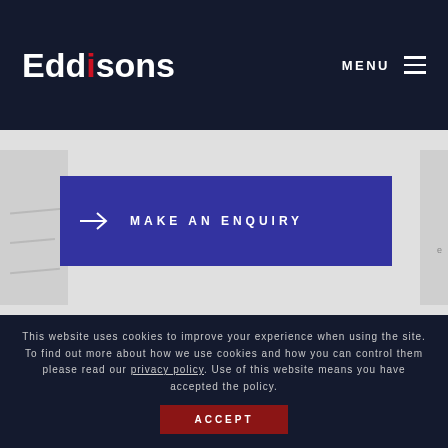Eddisons — MENU
[Figure (screenshot): White/grey background section with partial document image visible on left and right edges]
MAKE AN ENQUIRY
This website uses cookies to improve your experience when using the site. To find out more about how we use cookies and how you can control them please read our privacy policy. Use of this website means you have accepted the policy.
ACCEPT